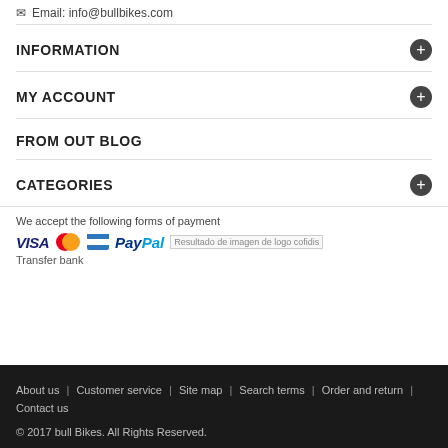Email: info@bullbikes.com
INFORMATION
MY ACCOUNT
FROM OUT BLOG
CATEGORIES
We accept the following forms of payment
[Figure (logo): Payment logos: VISA, Mastercard, American Express, PayPal, Cofidis]
Transfer bank
About us | Customer service | Site map | Search terms | Order and return | Contact us
© 2017 bull Bikes. All Rights Reserved.